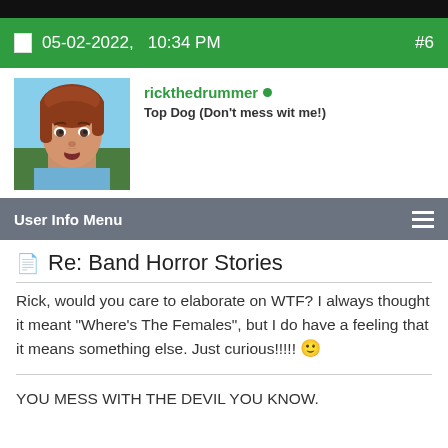05-02-2022,   10:34 PM    #6
rickthedrummer
Top Dog (Don't mess wit me!)
User Info Menu
📄 Re: Band Horror Stories
Rick, would you care to elaborate on WTF? I always thought it meant "Where's The Females", but I do have a feeling that it means something else. Just curious!!!!! 🙂
YOU MESS WITH THE DEVIL YOU KNOW.